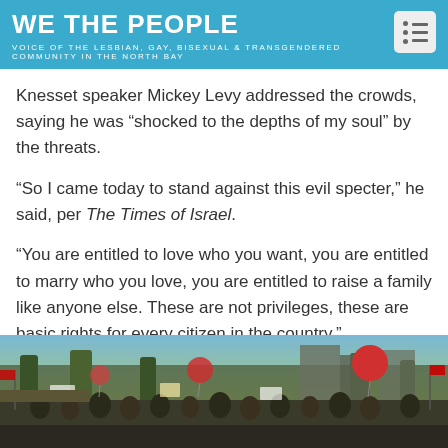WE THE PEOPLE
VOICE OF THE LESBIAN, GAY, BISEXUAL & TRANSGENDERED COMMUNITY IN THE NORTH BAY
Knesset speaker Mickey Levy addressed the crowds, saying he was “shocked to the depths of my soul” by the threats.
“So I came today to stand against this evil specter,” he said, per The Times of Israel.
“You are entitled to love who you want, you are entitled to marry who you love, you are entitled to raise a family like anyone else. These are not privileges, these are basic rights for every citizen in the country.”
[Figure (photo): Outdoor rally or parade scene with crowd of people, colorful balloons including red balloons, signs and banners, trees in background, daytime]